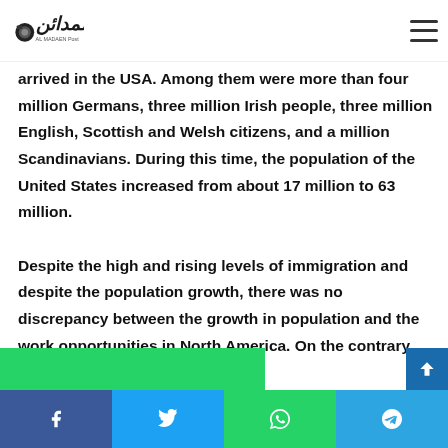Al Madaen Post logo and navigation
mately 15 million Europeans, most of whom e west, north, and centre of the continent, arrived in the USA. Among them were more than four million Germans, three million Irish people, three million English, Scottish and Welsh citizens, and a million Scandinavians. During this time, the population of the United States increased from about 17 million to 63 million.
Despite the high and rising levels of immigration and despite the population growth, there was no discrepancy between the growth in population and the work opportunities in North America. On the contrary, the
Social share buttons: Facebook, Twitter, WhatsApp, Telegram